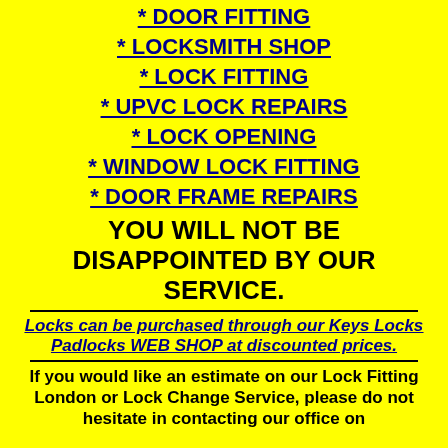* DOOR FITTING
* LOCKSMITH SHOP
* LOCK FITTING
* UPVC LOCK REPAIRS
* LOCK OPENING
* WINDOW LOCK FITTING
* DOOR FRAME REPAIRS
YOU WILL NOT BE DISAPPOINTED BY OUR SERVICE.
Locks can be purchased through our Keys Locks Padlocks WEB SHOP at discounted prices.
If you would like an estimate on our Lock Fitting London or Lock Change Service, please do not hesitate in contacting our office on